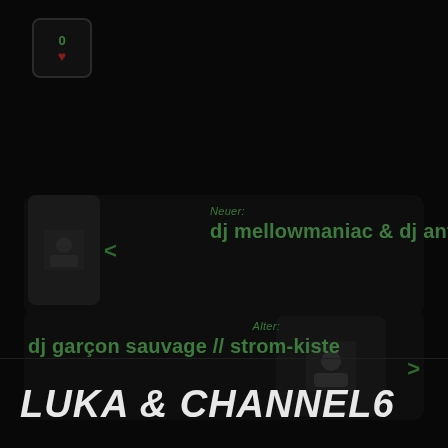[Figure (screenshot): Small icon badge with number 0 and red heart symbol, dark background]
Neuer:
dj mellowmaniac & dj antje
Alter:
dj garçon sauvage // strom-kiste
LUKA & CHANNEL6